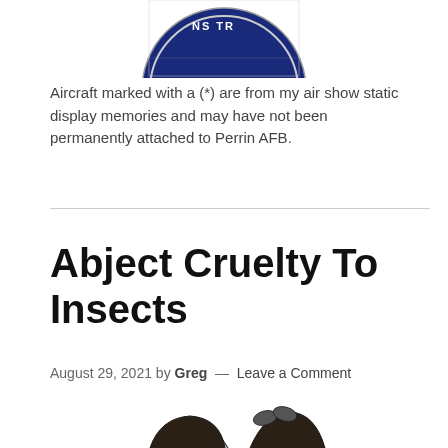[Figure (logo): Partial circular emblem/patch with blue background and text 'NS TR' visible, cropped at top of page]
Aircraft marked with a (*) are from my air show static display memories and may have not been permanently attached to Perrin AFB.
Abject Cruelty To Insects
August 29, 2021 by Greg — Leave a Comment
[Figure (illustration): Black and white illustration showing two children (a boy and a girl) looking at something, partially cropped at the bottom of the page]